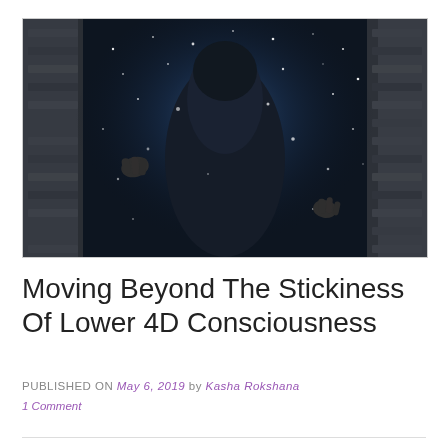[Figure (photo): Dark atmospheric photo of a robed figure standing between stone walls or pillars, with a starry/sparkly blue-dark background, hands visible on both sides reaching toward stones]
Moving Beyond The Stickiness Of Lower 4D Consciousness
PUBLISHED ON May 6, 2019 by Kasha Rokshana
1 Comment